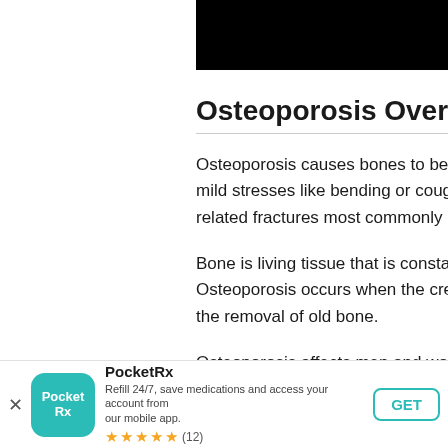[Figure (photo): Black rectangular image block in the top-right area of the page]
Osteoporosis Overview
Osteoporosis causes bones to become weak and brittle — so brittle that a fall or even mild stresses like bending or coughing can cause a fracture. Osteoporosis-related fractures most commonly occur in the hip, wrist or spine.
Bone is living tissue that is constantly being broken down and replaced. Osteoporosis occurs when the creation of new bone doesn't keep up with the removal of old bone.
Osteoporosis affects men and women of all races. But white and Asian women —
[Figure (screenshot): PocketRx app install banner at the bottom of the page showing app icon, name, description, star rating of 5 stars with 12 reviews, and a GET button]